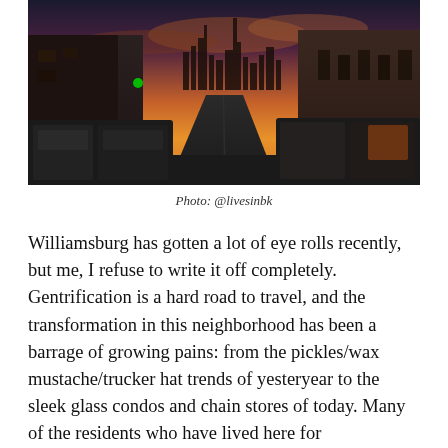[Figure (photo): Street-level photograph of a Brooklyn (Williamsburg) street at sunset. Cars parked on both sides of a two-lane road leading toward a dramatic orange and purple sky with the Manhattan skyline visible in the distance. Industrial buildings flank both sides of the street.]
Photo: @livesinbk
Williamsburg has gotten a lot of eye rolls recently, but me, I refuse to write it off completely. Gentrification is a hard road to travel, and the transformation in this neighborhood has been a barrage of growing pains: from the pickles/wax mustache/trucker hat trends of yesteryear to the sleek glass condos and chain stores of today. Many of the residents who have lived here for